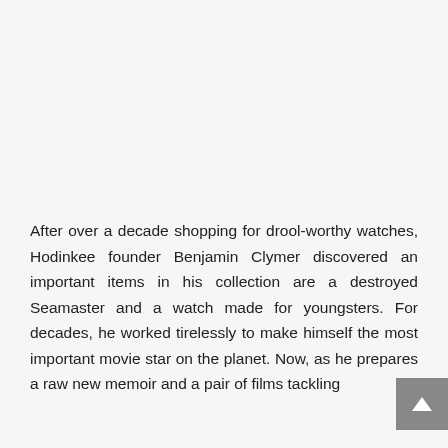[Figure (photo): Large image placeholder at top of page (image content not visible)]
After over a decade shopping for drool-worthy watches, Hodinkee founder Benjamin Clymer discovered an important items in his collection are a destroyed Seamaster and a watch made for youngsters. For decades, he worked tirelessly to make himself the most important movie star on the planet. Now, as he prepares a raw new memoir and a pair of films tackling